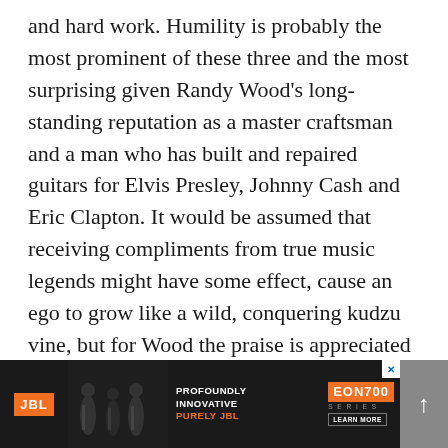and hard work. Humility is probably the most prominent of these three and the most surprising given Randy Wood's long-standing reputation as a master craftsman and a man who has built and repaired guitars for Elvis Presley, Johnny Cash and Eric Clapton. It would be assumed that receiving compliments from true music legends might have some effect, cause an ego to grow like a wild, conquering kudzu vine, but for Wood the praise is appreciated without ever being dwelled upon long enough to take root.
In 1969, Wood, just 26 years old at the time, had just finished making his first mandolin and was traveling with Th... n't
[Figure (other): JBL advertisement banner at bottom of page. Shows JBL logo in orange, band silhouette image, text 'PROFOUNDLY INNOVATIVE PURELY JBL', EON700 SERIES branding, and LEARN MORE button. Has an X close button and scroll-up arrow button.]